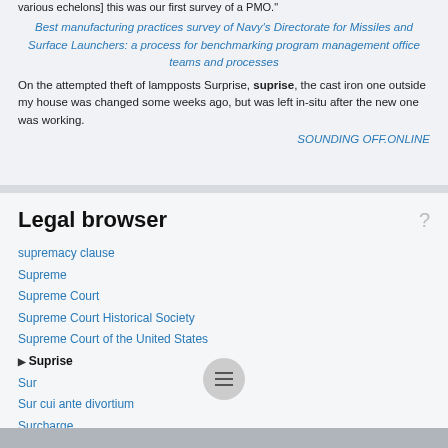various echelons] this was our first survey of a PMO."
Best manufacturing practices survey of Navy's Directorate for Missiles and Surface Launchers: a process for benchmarking program management office teams and processes
On the attempted theft of lampposts Surprise, suprise, the cast iron one outside my house was changed some weeks ago, but was left in-situ after the new one was working.
SOUNDING OFF.ONLINE
Legal browser
supremacy clause
Supreme
Supreme Court
Supreme Court Historical Society
Supreme Court of the United States
Suprise
Sur
Sur cui ante divortium
Surcharge